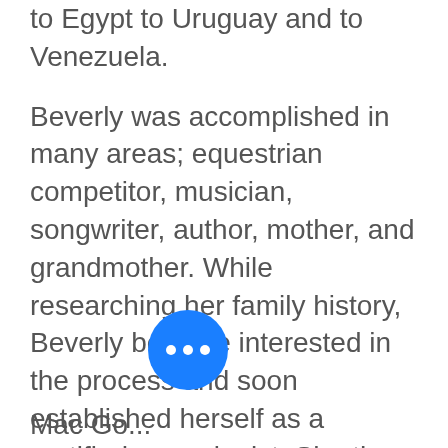to Egypt to Uruguay and to Venezuela.
Beverly was accomplished in many areas; equestrian competitor, musician, songwriter, author, mother, and grandmother. While researching her family history, Beverly became interested in the process and soon established herself as a certified genealogist. She then joined DAR in December of 1963. This family research soon led to the collection of many books, documents, maps, and interviews with primary sources.